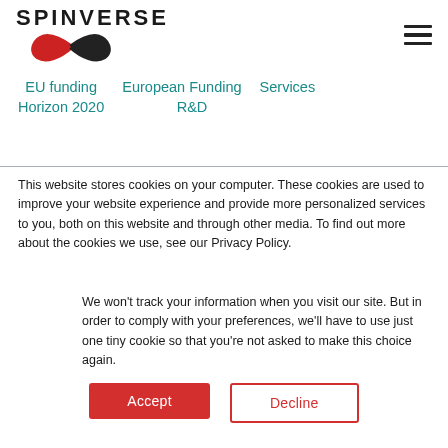[Figure (logo): Spinverse logo with infinity symbol in red and black]
EU funding   European Funding
Horizon 2020   R&D   Services
This website stores cookies on your computer. These cookies are used to improve your website experience and provide more personalized services to you, both on this website and through other media. To find out more about the cookies we use, see our Privacy Policy.
We won't track your information when you visit our site. But in order to comply with your preferences, we'll have to use just one tiny cookie so that you're not asked to make this choice again.
Accept
Decline